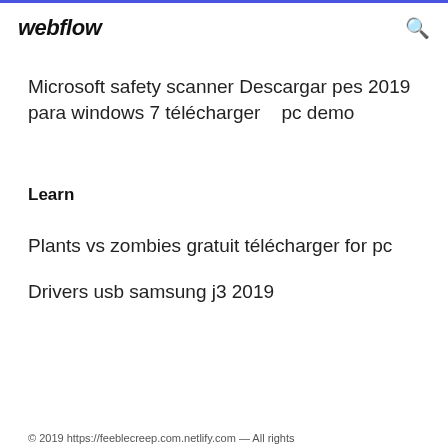webflow
Microsoft safety scanner Descargar pes 2019 para windows 7 télécharger   pc demo
Learn
Plants vs zombies gratuit télécharger for pc
Drivers usb samsung j3 2019
© 2019 https://feeblecreep.com.netlify.com — All rights